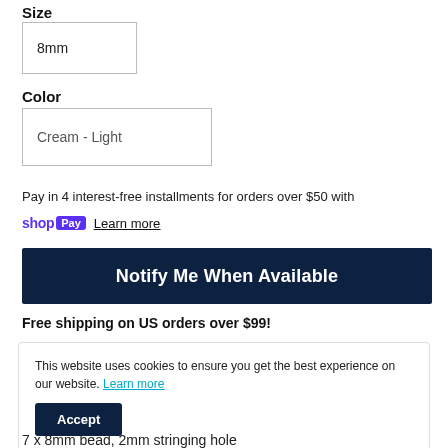Size
8mm
Color
Cream - Light
Pay in 4 interest-free installments for orders over $50 with
shop Pay  Learn more
Notify Me When Available
Free shipping on US orders over $99!
This website uses cookies to ensure you get the best experience on our website. Learn more
Accept
7 x 8mm bead, 2mm stringing hole